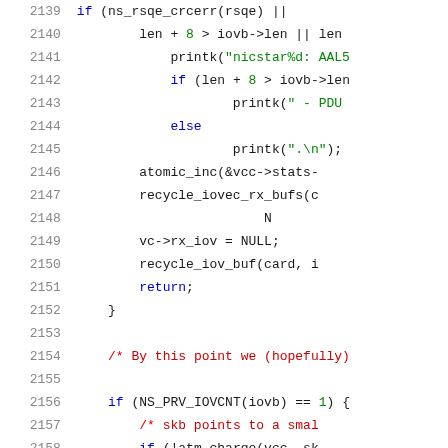[Figure (screenshot): Source code listing showing C code lines 2139-2159. Contains syntax-highlighted code with line numbers on the left, showing conditional logic with if/else statements, printk calls, atomic_inc, recycle_iovec_rx_bufs, vc->rx_iov assignment, recycle_iov_buf, return statement, a comment block, and another if statement with NS_PRV_IOVCNT.]